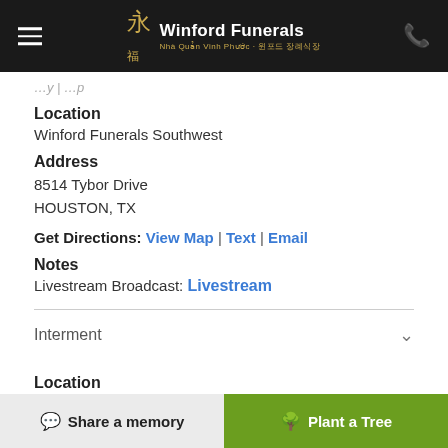Winford Funerals | Nha Quan Vinh Phuoc · 윈포드 장례식장
Location
Winford Funerals Southwest
Address
8514 Tybor Drive
HOUSTON, TX
Get Directions: View Map | Text | Email
Notes
Livestream Broadcast: Livestream
Interment
Location